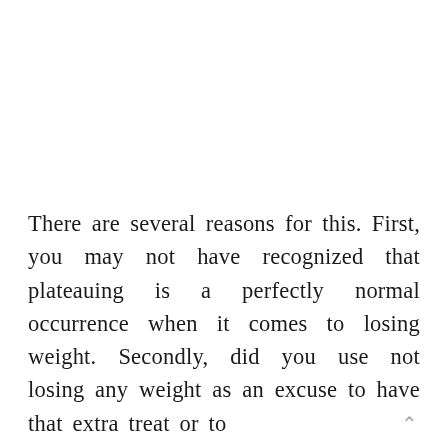There are several reasons for this. First, you may not have recognized that plateauing is a perfectly normal occurrence when it comes to losing weight. Secondly, did you use not losing any weight as an excuse to have that extra treat or to